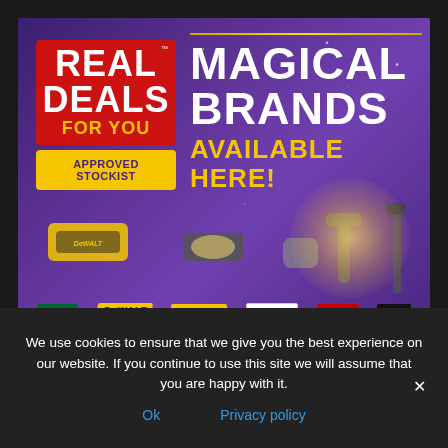[Figure (illustration): Real Deals For You approved stockist promotional banner showing 'Magical Brands Available Here!' with tool brand logos including IRWIN, DeWALT, STANLEY, KOMelon, Einhell, and Wera on a purple starry background with power tools imagery.]
We use cookies to ensure that we give you the best experience on our website. If you continue to use this site we will assume that you are happy with it.
Ok   Privacy policy